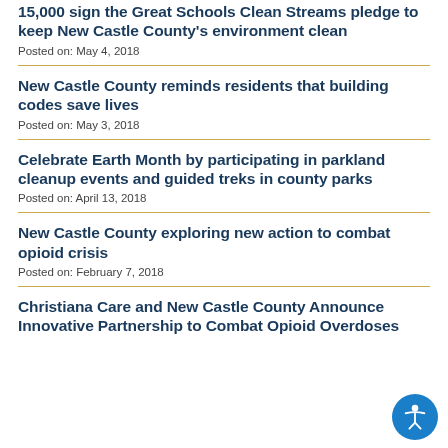15,000 sign the Great Schools Clean Streams pledge to keep New Castle County's environment clean
Posted on: May 4, 2018
New Castle County reminds residents that building codes save lives
Posted on: May 3, 2018
Celebrate Earth Month by participating in parkland cleanup events and guided treks in county parks
Posted on: April 13, 2018
New Castle County exploring new action to combat opioid crisis
Posted on: February 7, 2018
Christiana Care and New Castle County Announce Innovative Partnership to Combat Opioid Overdoses